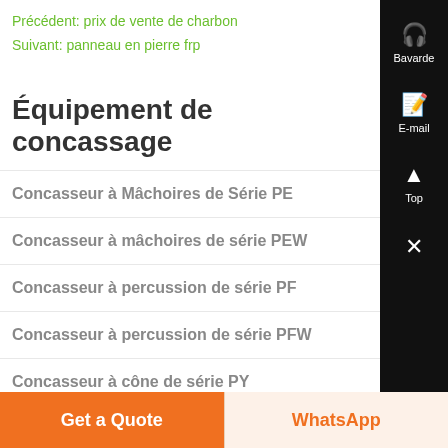Précédent: prix de vente de charbon
Suivant: panneau en pierre frp
Équipement de concassage
Concasseur à Mâchoires de Série PE
Concasseur à mâchoires de série PEW
Concasseur à percussion de série PF
Concasseur à percussion de série PFW
Concasseur à cône de série PY